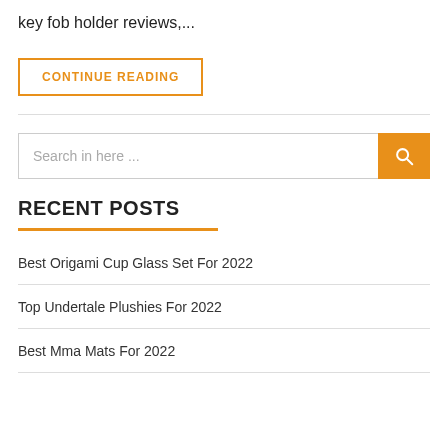key fob holder reviews,...
CONTINUE READING
[Figure (other): Search bar with orange search button and magnifying glass icon]
RECENT POSTS
Best Origami Cup Glass Set For 2022
Top Undertale Plushies For 2022
Best Mma Mats For 2022